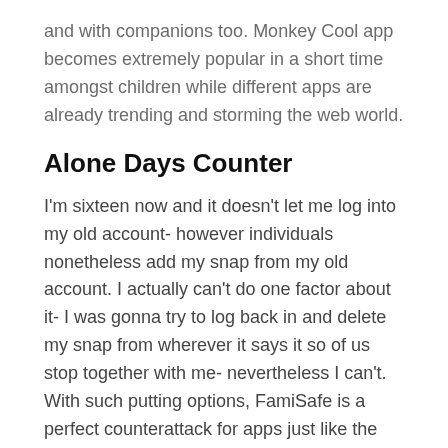and with companions too. Monkey Cool app becomes extremely popular in a short time amongst children while different apps are already trending and storming the web world.
Alone Days Counter
I'm sixteen now and it doesn't let me log into my old account- however individuals nonetheless add my snap from my old account. I actually can't do one factor about it- I was gonna try to log back in and delete my snap from wherever it says it so of us stop together with me- nevertheless I can't. With such putting options, FamiSafe is a perfect counterattack for apps just like the Monkey app.
As a enterprise proprietor, you've several packages to choose from to create your surveys. Our idea was very like lots of different platforms throughout the market, however it